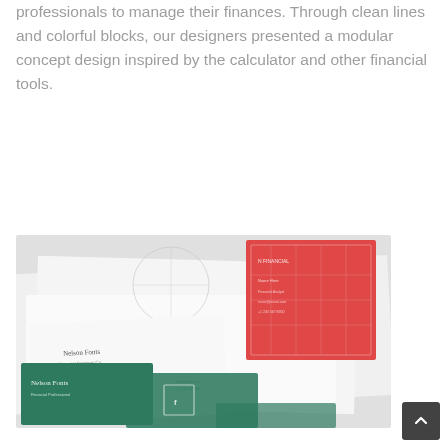professionals to manage their finances. Through clean lines and colorful blocks, our designers presented a modular concept design inspired by the calculator and other financial tools.
[Figure (photo): Photo showing a financial brand identity design mockup with business cards and stationery. A red business card and green business cards are displayed on white paper with design grid lines and a circle outline visible.]